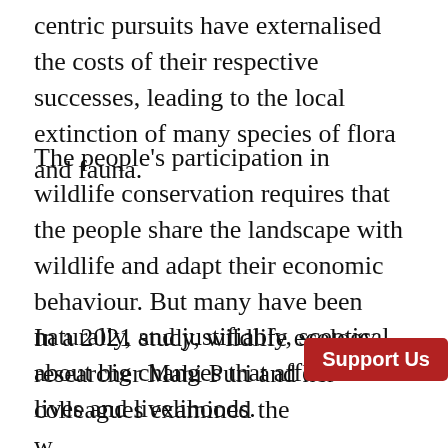centric pursuits have externalised the costs of their respective successes, leading to the local extinction of many species of flora and fauna.
The people's participation in wildlife conservation requires that the people share the landscape with wildlife and adapt their economic behaviour. But many have been naturally, and justifiably, sceptical about big changes that affect their lives and livelihoods.
In a 2021 study, wildlife ecology researcher Mahi Puri and her colleagues examined the willingness of farmers to participate in wildlife conservation through an approach that addressed both the ecological suitability of areas for wildlife and the socio-economic reality of farmers.